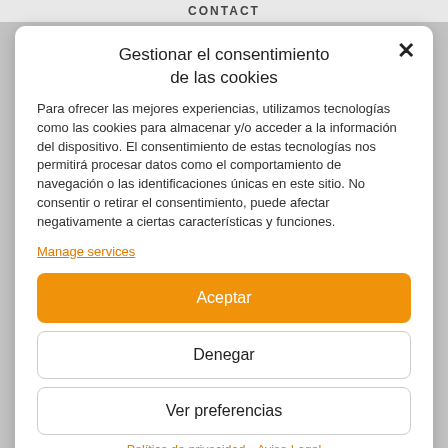CONTACT
Gestionar el consentimiento de las cookies
Para ofrecer las mejores experiencias, utilizamos tecnologías como las cookies para almacenar y/o acceder a la información del dispositivo. El consentimiento de estas tecnologías nos permitirá procesar datos como el comportamiento de navegación o las identificaciones únicas en este sitio. No consentir o retirar el consentimiento, puede afectar negativamente a ciertas características y funciones.
Manage services
Aceptar
Denegar
Ver preferencias
Política de privacidad   Aviso Legal